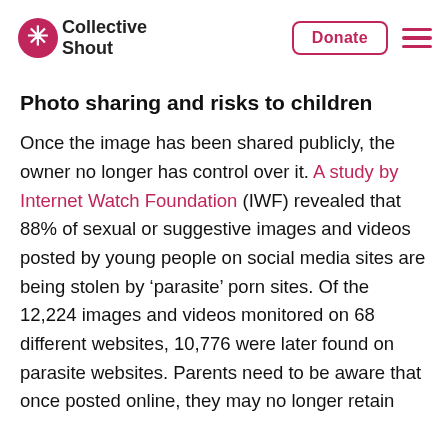Collective Shout | Donate
Photo sharing and risks to children
Once the image has been shared publicly, the owner no longer has control over it. A study by Internet Watch Foundation (IWF) revealed that 88% of sexual or suggestive images and videos posted by young people on social media sites are being stolen by ‘parasite’ porn sites. Of the 12,224 images and videos monitored on 68 different websites, 10,776 were later found on parasite websites. Parents need to be aware that once posted online, they may no longer retain